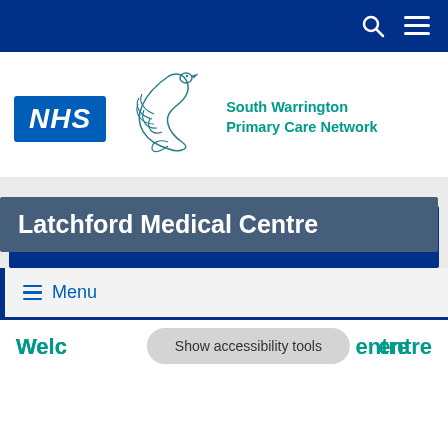Navigation bar with search and menu icons
[Figure (logo): NHS logo (blue rectangle with white italic bold text 'NHS') alongside a teal swan illustration logo and 'South Warrington Primary Care Network' text in teal]
Latchford Medical Centre
≡ Menu
Welc...entre (Welcome to... Centre) with 'Show accessibility tools' overlay button